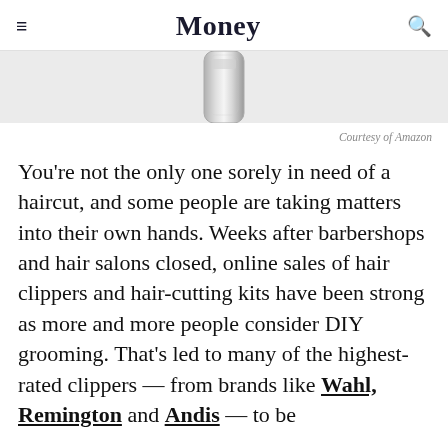Money
[Figure (photo): Partial image of a hair clipper (metallic, silver) cropped at the top of the page against a light gray background.]
Courtesy of Amazon
You're not the only one sorely in need of a haircut, and some people are taking matters into their own hands. Weeks after barbershops and hair salons closed, online sales of hair clippers and hair-cutting kits have been strong as more and more people consider DIY grooming. That's led to many of the highest-rated clippers — from brands like Wahl, Remington and Andis — to be